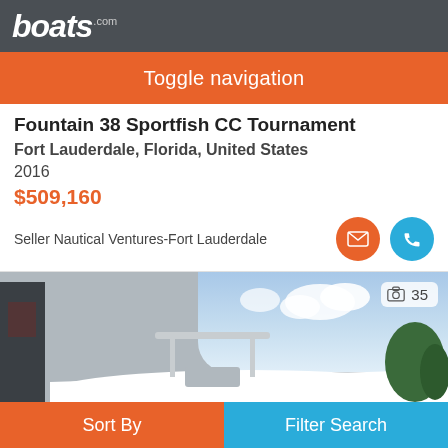boats.com
Toggle navigation
Fountain 38 Sportfish CC Tournament
Fort Lauderdale, Florida, United States
2016
$509,160
Seller Nautical Ventures-Fort Lauderdale
[Figure (photo): White Fountain 38 Sportfish CC Tournament boat on a trailer in a boatyard, with a T-top, against a partly cloudy sky. Photo count badge showing 35 photos.]
Sort By
Filter Search